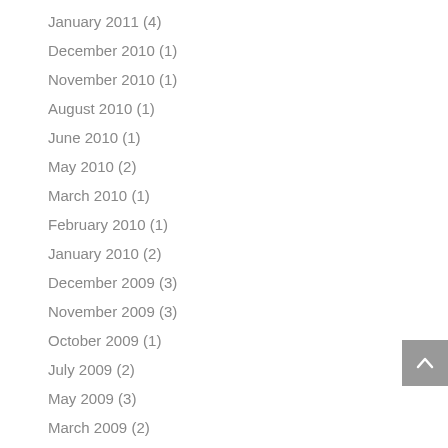January 2011 (4)
December 2010 (1)
November 2010 (1)
August 2010 (1)
June 2010 (1)
May 2010 (2)
March 2010 (1)
February 2010 (1)
January 2010 (2)
December 2009 (3)
November 2009 (3)
October 2009 (1)
July 2009 (2)
May 2009 (3)
March 2009 (2)